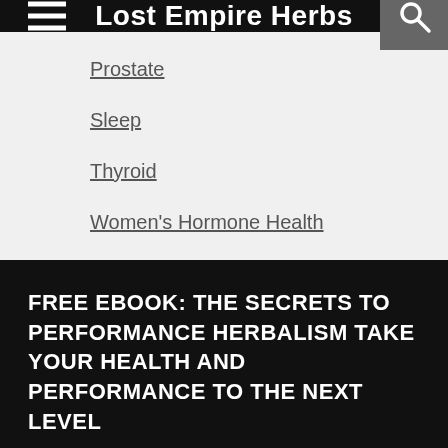Lost Empire Herbs
Prostate
Sleep
Thyroid
Women's Hormone Health
FREE EBOOK: THE SECRETS TO PERFORMANCE HERBALISM TAKE YOUR HEALTH AND PERFORMANCE TO THE NEXT LEVEL